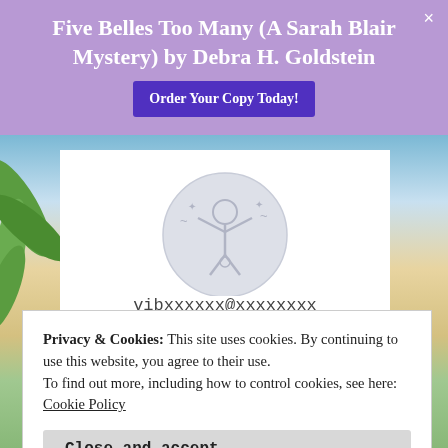Five Belles Too Many (A Sarah Blair Mystery) by Debra H. Goldstein
[Figure (screenshot): Purple website banner with book title and 'Order Your Copy Today!' button and close X]
[Figure (illustration): Circular avatar/profile icon showing a person with arms raised, light gray color]
vibxxxxxx@xxxxxxxx
Privacy & Cookies: This site uses cookies. By continuing to use this website, you agree to their use.
To find out more, including how to control cookies, see here:
Cookie Policy
Close and accept
Submit